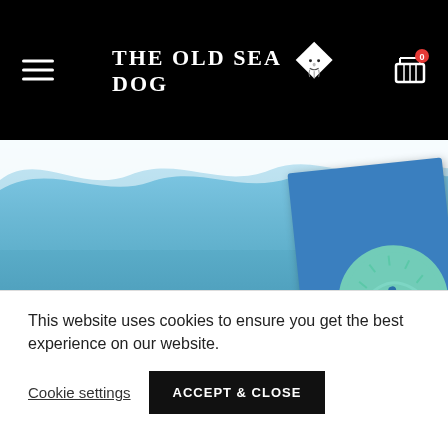THE OLD SEA DOG
[Figure (photo): Beach scene with blue sky, ocean water, and a blue card/package with a circular logo showing a fisherman in a boat, overlaid with a wave graphic at the top.]
This website uses cookies to ensure you get the best experience on our website.
Cookie settings
ACCEPT & CLOSE